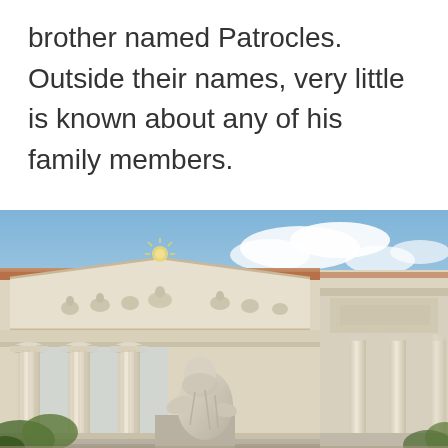brother named Patrocles. Outside their names, very little is known about any of his family members.
[Figure (photo): Photograph of a neoclassical Greek building facade with Ionic columns, a decorated pediment with relief sculptures, a seated marble statue in the foreground, and a blue sky with clouds in the background.]